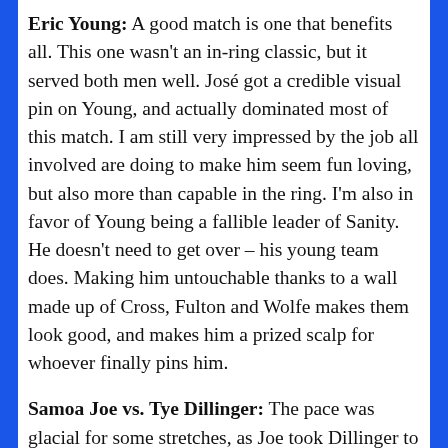Eric Young: A good match is one that benefits all. This one wasn't an in-ring classic, but it served both men well. José got a credible visual pin on Young, and actually dominated most of this match. I am still very impressed by the job all involved are doing to make him seem fun loving, but also more than capable in the ring. I'm also in favor of Young being a fallible leader of Sanity. He doesn't need to get over – his young team does. Making him untouchable thanks to a wall made up of Cross, Fulton and Wolfe makes them look good, and makes him a prized scalp for whoever finally pins him.
Samoa Joe vs. Tye Dillinger: The pace was glacial for some stretches, as Joe took Dillinger to the woodshed. A little more brutality may have been called for given the length and main event